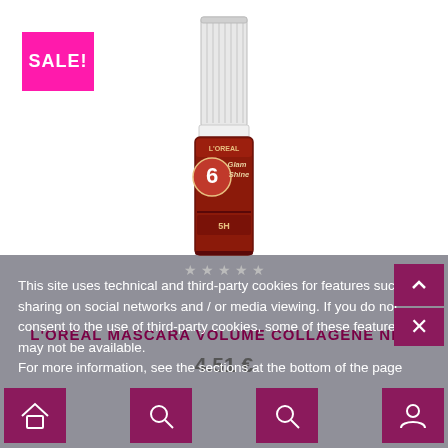[Figure (photo): L'Oreal Glam Shine 6H lip gloss product bottle with clear cap and red/dark red barrel, displayed upright on white background]
SALE!
L'OREAL MASCARA volume collagene ne...
4.51 €
This site uses technical and third-party cookies for features such as sharing on social networks and / or media viewing. If you do not consent to the use of third-party cookies, some of these features may not be available. For more information, see the sections at the bottom of the page